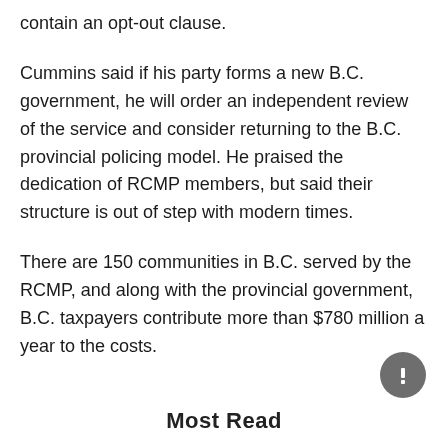contain an opt-out clause.
Cummins said if his party forms a new B.C. government, he will order an independent review of the service and consider returning to the B.C. provincial policing model. He praised the dedication of RCMP members, but said their structure is out of step with modern times.
There are 150 communities in B.C. served by the RCMP, and along with the provincial government, B.C. taxpayers contribute more than $780 million a year to the costs.
Most Read